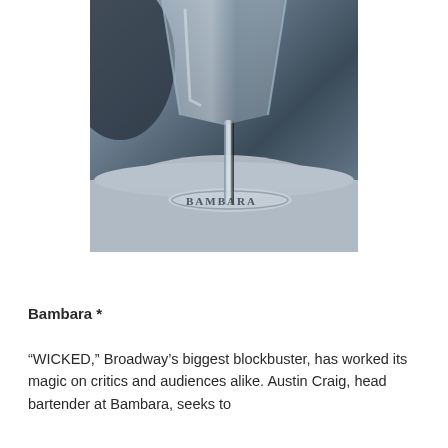[Figure (photo): Close-up photograph of a martini glass with a branded base reading 'BAMBARA' on a grey cloth/napkin background]
Bambara *
“WICKED,” Broadway’s biggest blockbuster, has worked its magic on critics and audiences alike. Austin Craig, head bartender at Bambara, seeks to